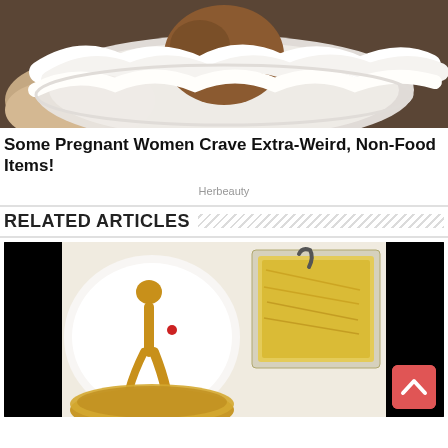[Figure (photo): A hand holding a clear bowl filled with whipped cream and a baked item on top, in a car interior]
Some Pregnant Women Crave Extra-Weird, Non-Food Items!
Herbeauty
RELATED ARTICLES
[Figure (photo): Food photo showing a plate with a mustard/sauce shape resembling a figure, a bag of shredded cheese/food, and a bowl of soup, with black borders on sides]